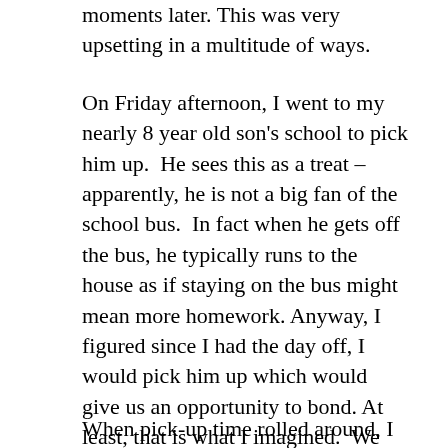moments later. This was very upsetting in a multitude of ways.
On Friday afternoon, I went to my nearly 8 year old son's school to pick him up.  He sees this as a treat – apparently, he is not a big fan of the school bus.  In fact when he gets off the bus, he typically runs to the house as if staying on the bus might mean more homework. Anyway, I figured since I had the day off, I would pick him up which would give us an opportunity to bond. At least, that is what I imagined.  We would run errands and talk along the way. Efficient and useful bonding time.
When pick-up time rolled around, I was in a